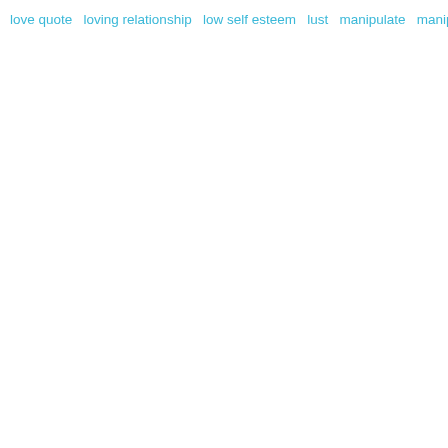love quote   loving relationship   low self esteem   lust   manipulate   manipulation   mannerism   marriage   materialistic   mediation   meditation   meekness   memorize   memory   mental   mental health   mental health,   mentoring   mercy   minorities   miracles   money   Money   moral   morals   motivational quotes   motives   narcissist   narcissist   nature   nature   nature photography   New King James Bible   oath   obedience   obedient   obey   obligations   offering   opportunity   opportunity,   oppression   ordeal   pain   patience   Peace   peace   people   people   persecute   Persecution   persecution   perseverance   personal experiance   personal experience   personalities   photography   plague   plans   pleasure   pleasures   poetry   polite   politics   pompous   popularity   positive quotes   possession   possessions   poverty   Power   power   praise   praise,   prayer   prayer   prayer for compassion   prayer for deliverance